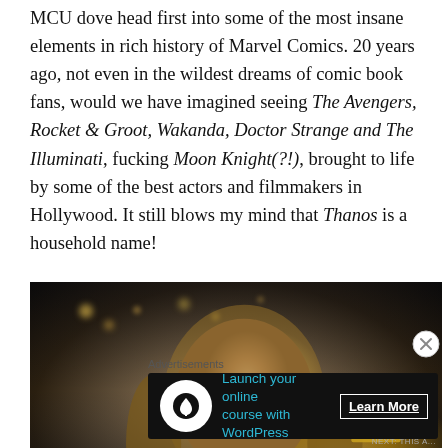MCU dove head first into some of the most insane elements in rich history of Marvel Comics. 20 years ago, not even in the wildest dreams of comic book fans, would we have imagined seeing The Avengers, Rocket & Groot, Wakanda, Doctor Strange and The Illuminati, fucking Moon Knight(?!), brought to life by some of the best actors and filmmakers in Hollywood. It still blows my mind that Thanos is a household name!
[Figure (photo): A still from a Marvel/Thor movie showing Chris Hemsworth as Thor smiling, wearing red and blue armour, with bokeh lights in the background and a golden object at the right edge]
Advertisements
[Figure (screenshot): Advertisement banner: dark background with white circular icon (tree/person silhouette), teal text 'Launch your online course with WordPress', and 'Learn More' button]